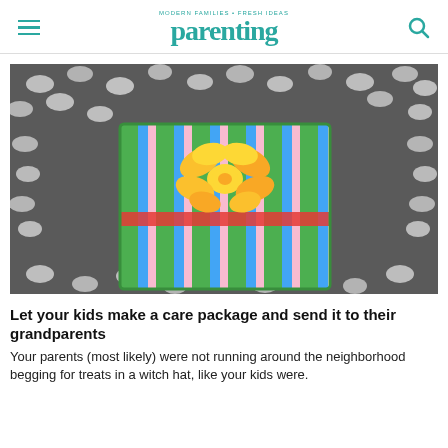MODERN FAMILIES • FRESH IDEAS parenting
[Figure (photo): A colorful striped gift box with a large yellow ribbon bow, surrounded by white packing peanuts in a cardboard box, viewed from above.]
Let your kids make a care package and send it to their grandparents
Your parents (most likely) were not running around the neighborhood begging for treats in a witch hat, like your kids were.